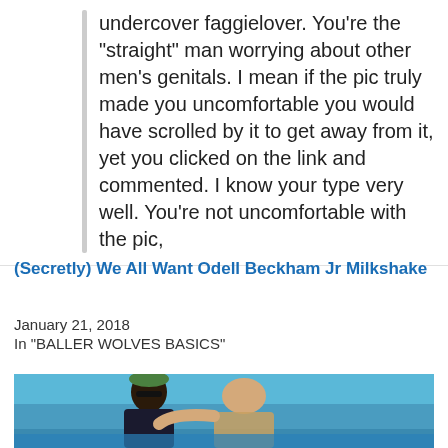undercover faggielover. You're the "straight" man worrying about other men's genitals. I mean if the pic truly made you uncomfortable you would have scrolled by it to get away from it, yet you clicked on the link and commented. I know your type very well. You're not uncomfortable with the pic,
(Secretly) We All Want Odell Beckham Jr Milkshake
January 21, 2018
In "BALLER WOLVES BASICS"
[Figure (photo): A man with a beard and sunglasses wearing a dark patterned shirt, with a woman in a bikini leaning against him, both on a boat with blue sky and water in the background.]